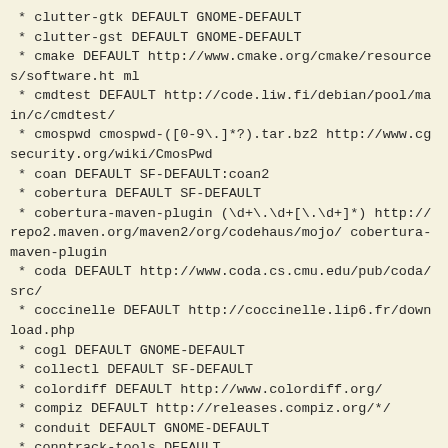* clutter-gtk DEFAULT GNOME-DEFAULT
* clutter-gst DEFAULT GNOME-DEFAULT
* cmake DEFAULT http://www.cmake.org/cmake/resources/software.html
* cmdtest DEFAULT http://code.liw.fi/debian/pool/main/c/cmdtest/
* cmospwd cmospwd-([0-9\.]*?).tar.bz2 http://www.cgsecurity.org/wiki/CmosPwd
* coan DEFAULT SF-DEFAULT:coan2
* cobertura DEFAULT SF-DEFAULT
* cobertura-maven-plugin (\d+\.\d+[\.\d+]*) http://repo2.maven.org/maven2/org/codehaus/mojo/cobertura-maven-plugin
* coda DEFAULT http://www.coda.cs.cmu.edu/pub/coda/src/
* coccinelle DEFAULT http://coccinelle.lip6.fr/download.php
* cogl DEFAULT GNOME-DEFAULT
* collectl DEFAULT SF-DEFAULT
* colordiff DEFAULT http://www.colordiff.org/
* compiz DEFAULT http://releases.compiz.org/*/
* conduit DEFAULT GNOME-DEFAULT
* conntrack-tools DEFAULT